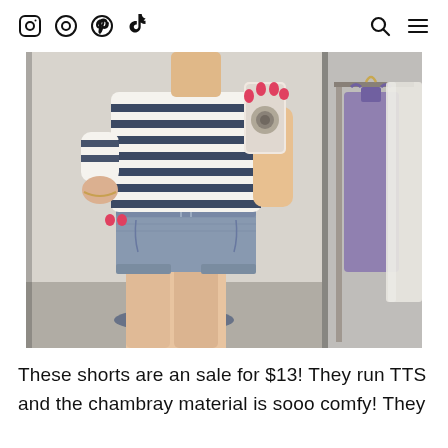Social media navigation header with icons: Instagram, favorites/circle, Pinterest, TikTok on left; search and menu on right
[Figure (photo): A woman taking a mirror selfie in a fitting room. She is wearing a navy and white striped short-sleeve top and light chambray/denim drawstring shorts. She holds her phone up to take the photo. In the background are hanging clothes on a rack including a purple dress and white garments.]
These shorts are an sale for $13! They run TTS and the chambray material is sooo comfy! They